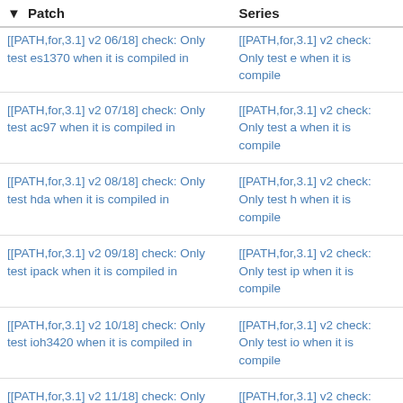| Patch | Series |
| --- | --- |
| [[PATH,for,3.1] v2 06/18] check: Only test es1370 when it is compiled in | [[PATH,for,3.1] v2 check: Only test es1370 when it is compiled in |
| [[PATH,for,3.1] v2 07/18] check: Only test ac97 when it is compiled in | [[PATH,for,3.1] v2 check: Only test ac97 when it is compiled in |
| [[PATH,for,3.1] v2 08/18] check: Only test hda when it is compiled in | [[PATH,for,3.1] v2 check: Only test hda when it is compiled in |
| [[PATH,for,3.1] v2 09/18] check: Only test ipack when it is compiled in | [[PATH,for,3.1] v2 check: Only test ipack when it is compiled in |
| [[PATH,for,3.1] v2 10/18] check: Only test ioh3420 when it is compiled in | [[PATH,for,3.1] v2 check: Only test ioh3420 when it is compiled in |
| [[PATH,for,3.1] v2 11/18] check: Only test i82801b11 when it is compiled in | [[PATH,for,3.1] v2 check: Only test i82801b11 when it is compiled in |
| [[PATH,for,3.1] v2 12/18] check: Only test sdhci when it is compiled in | [[PATH,for,3.1] v2 check: Only test sdhci when it is compiled in |